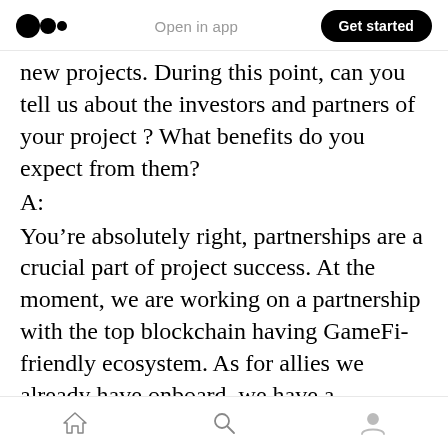Medium logo | Open in app | Get started
new projects. During this point, can you tell us about the investors and partners of your project ? What benefits do you expect from them?
A:
You’re absolutely right, partnerships are a crucial part of project success. At the moment, we are working on a partnership with the top blockchain having GameFi-friendly ecosystem. As for allies we already have onboard, we have a partnership with the payment processor who would allow us to onboard the gaming audience we have in our games to Axes Metaverse, a number of advisors who help us to grow the